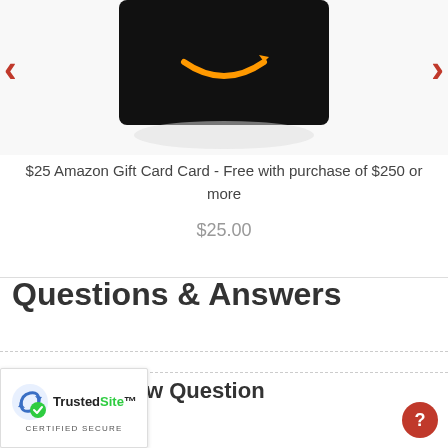[Figure (photo): Amazon Gift Card product image on black card with orange Amazon smile/arrow logo, shown against white background with reflection below; navigation arrows on left and right sides]
$25 Amazon Gift Card Card - Free with purchase of $250 or more
$25.00
Questions & Answers
it a New Question
[Figure (logo): TrustedSite CERTIFIED SECURE badge with blue arrow/recycle icon and green checkmark]